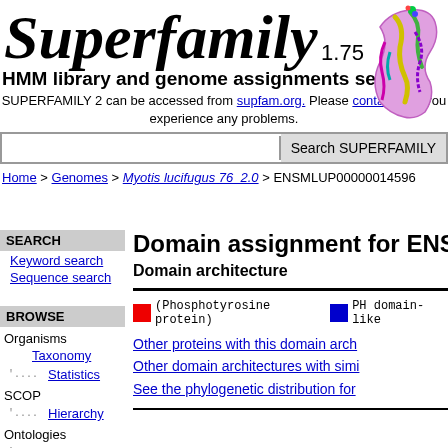Superfamily 1.75
HMM library and genome assignments server
SUPERFAMILY 2 can be accessed from supfam.org. Please contact us if you experience any problems.
Search SUPERFAMILY
Home > Genomes > Myotis lucifugus 76_2.0 > ENSMLUP00000014596
SEARCH
Keyword search
Sequence search
BROWSE
Organisms
Taxonomy
Statistics
SCOP
Hierarchy
Ontologies
GO
Domain assignment for ENSMLUP00000014596
Domain architecture
(Phosphotyrosine protein)  PH domain-like
Other proteins with this domain architecture
Other domain architectures with similar
See the phylogenetic distribution for